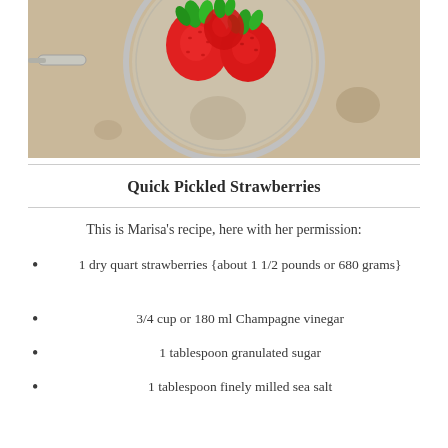[Figure (photo): Top-down photo of fresh red strawberries in a metal mesh strainer/colander, placed on a light beige stone or marble surface with brown water stain marks.]
Quick Pickled Strawberries
This is Marisa's recipe, here with her permission:
1 dry quart strawberries {about 1 1/2 pounds or 680 grams}
3/4 cup or 180 ml Champagne vinegar
1 tablespoon granulated sugar
1 tablespoon finely milled sea salt